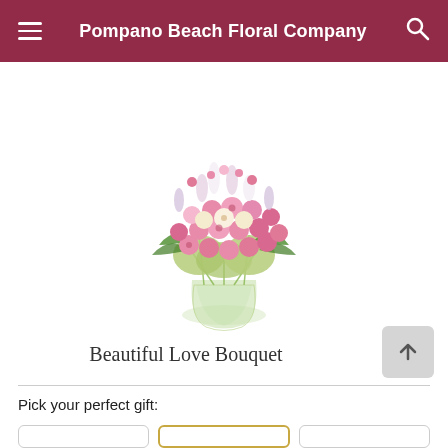Pompano Beach Floral Company
[Figure (photo): A lush floral bouquet with pink roses, white flowers, and green hydrangeas arranged in a clear glass vase — the Beautiful Love Bouquet product image.]
Beautiful Love Bouquet
Pick your perfect gift: